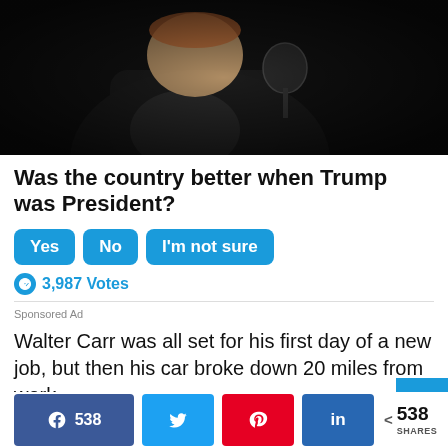[Figure (photo): Person speaking into a microphone, dark background, appears to be at a rally or event]
Was the country better when Trump was President?
Yes  No  I'm not sure
3,987 Votes
Sponsored Ad
Walter Carr was all set for his first day of a new job, but then his car broke down 20 miles from work.
538  [Twitter]  [Pinterest]  in  < 538 SHARES